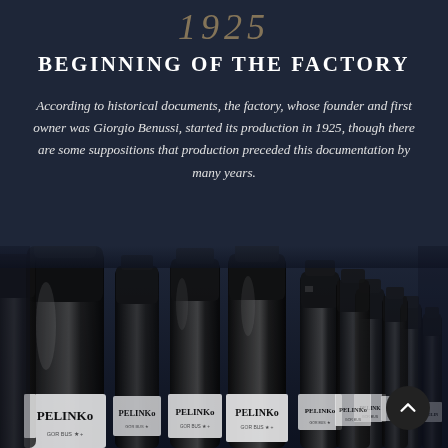1925
BEGINNING OF THE FACTORY
According to historical documents, the factory, whose founder and first owner was Giorgio Benussi, started its production in 1925, though there are some suppositions that production preceded this documentation by many years.
[Figure (photo): A row of dark glass bottles labeled 'PELINKO' arranged in perspective, black and white photograph style on a dark navy background.]